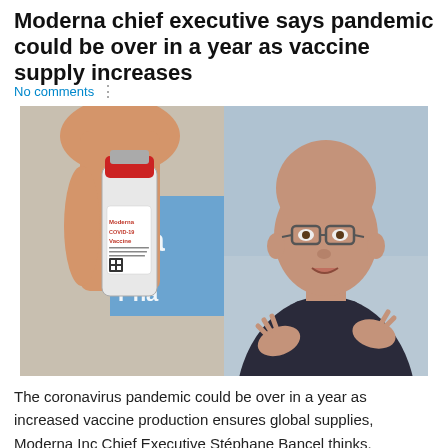Moderna chief executive says pandemic could be over in a year as vaccine supply increases
No comments
[Figure (photo): Left: A hand holding a vial of Moderna COVID-19 Vaccine with a red cap and white label, with a blue 'Wa... Pha...' sign visible in the background. Right: A middle-aged bald man wearing glasses and a dark turtleneck sweater, gesturing with his hands, speaking expressively.]
The coronavirus pandemic could be over in a year as increased vaccine production ensures global supplies, Moderna Inc Chief Executive Stéphane Bancel thinks.